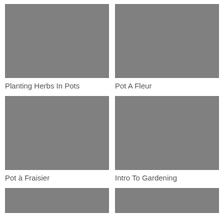[Figure (photo): Gray placeholder image for Planting Herbs In Pots]
Planting Herbs In Pots
[Figure (photo): Gray placeholder image for Pot A Fleur]
Pot A Fleur
[Figure (photo): Gray placeholder image for Pot à Fraisier]
Pot à Fraisier
[Figure (photo): Gray placeholder image for Intro To Gardening]
Intro To Gardening
[Figure (photo): Gray placeholder image (bottom left, partial)]
[Figure (photo): Gray placeholder image (bottom right, partial)]